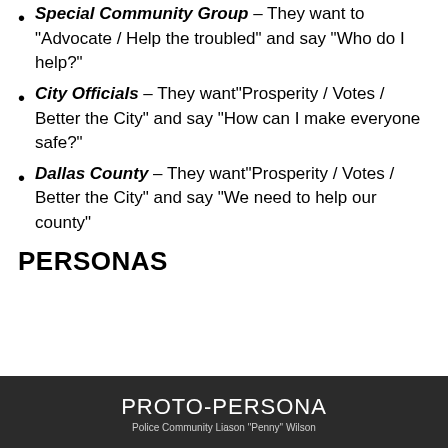Special Community Group – They want to "Advocate / Help the troubled" and say "Who do I help?"
City Officials – They want "Prosperity / Votes / Better the City" and say "How can I make everyone safe?"
Dallas County – They want "Prosperity / Votes / Better the City" and say "We need to help our county"
PERSONAS
[Figure (infographic): Dark banner with white text reading PROTO-PERSONA and subtitle Police Community Liason 'Penny' Wilson]